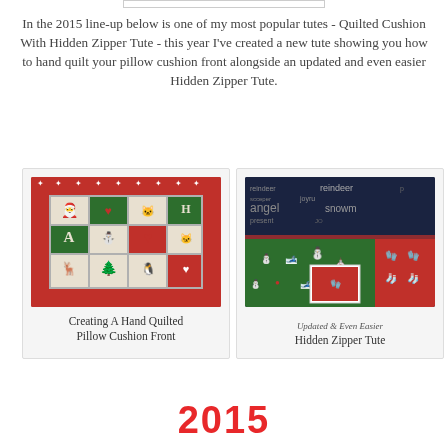In the 2015 line-up below is one of my most popular tutes - Quilted Cushion With Hidden Zipper Tute - this year I've created a new tute showing you how to hand quilt your pillow cushion front alongside an updated and even easier Hidden Zipper Tute.
[Figure (photo): Photo of a hand quilted Christmas pillow cushion front with patchwork squares featuring Santa, reindeer, hearts, and holiday motifs in red, green, and beige]
Creating A Hand Quilted Pillow Cushion Front
[Figure (photo): Photo of Christmas fabric with words like reindeer, angel, snowman, joy printed on dark background fabric, and bright red holiday print fabric with mittens and stockings]
Updated & Even Easier
Hidden Zipper Tute
2015